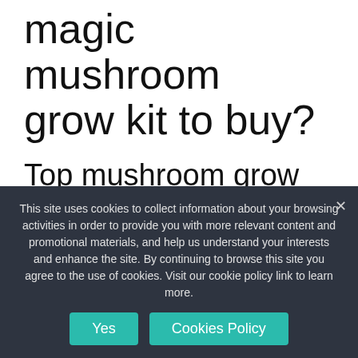magic mushroom grow kit to buy?
Top mushroom grow kit
Back To The Roots Organic Magic Mushroom Grow Kit
What you need to know: This popular kit is easy to use and quickly produces organic
This site uses cookies to collect information about your browsing activities in order to provide you with more relevant content and promotional materials, and help us understand your interests and enhance the site. By continuing to browse this site you agree to the use of cookies. Visit our cookie policy link to learn more.